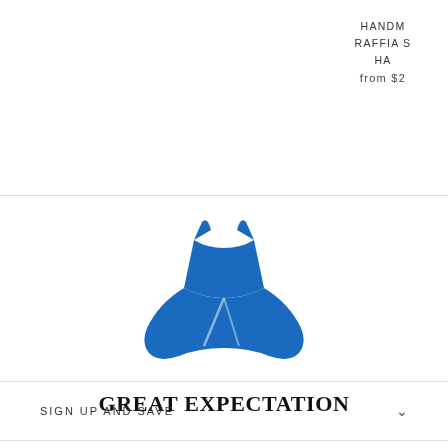HANDM
RAFFIA S
HA
from $2
[Figure (logo): Blue dress silhouette logo for Great Expectation fashion brand]
GREAT EXPECTATION
SIGN UP AND SAVE
CUSTOMER CARE